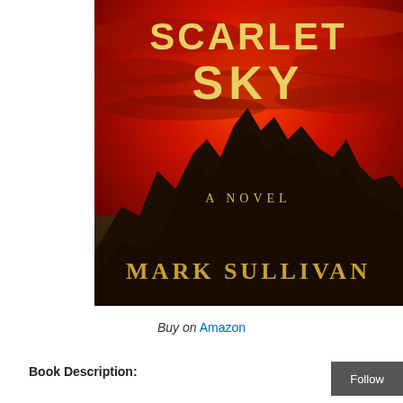[Figure (illustration): Book cover of 'Scarlet Sky' by Mark Sullivan. A dramatic red sky over jagged dark mountain peaks. Title 'SCARLET SKY' in large yellow letters at the top, 'A NOVEL' in smaller yellow text in the middle, and 'MARK SULLIVAN' in large gold serif letters at the bottom.]
Buy on Amazon
Book Description: